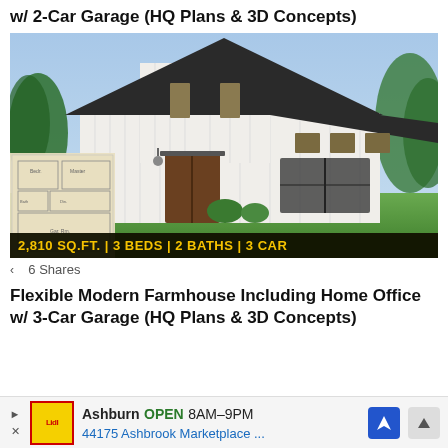w/ 2-Car Garage (HQ Plans & 3D Concepts)
[Figure (photo): Modern farmhouse exterior rendering with white board-and-batten siding, dark roof, and a floor plan inset in lower left. Banner reads: 2,810 SQ.FT. | 3 BEDS | 2 BATHS | 3 CAR]
6 Shares
Flexible Modern Farmhouse Including Home Office w/ 3-Car Garage (HQ Plans & 3D Concepts)
Ashburn OPEN 8AM–9PM 44175 Ashbrook Marketplace ...